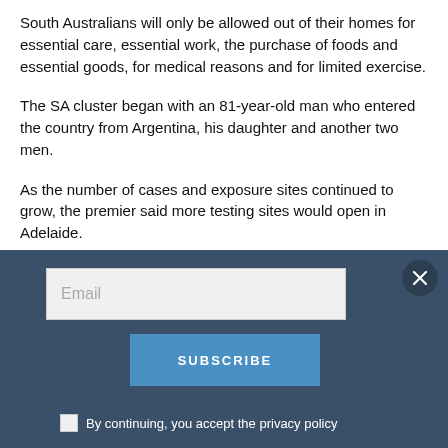South Australians will only be allowed out of their homes for essential care, essential work, the purchase of foods and essential goods, for medical reasons and for limited exercise.
The SA cluster began with an 81-year-old man who entered the country from Argentina, his daughter and another two men.
As the number of cases and exposure sites continued to grow, the premier said more testing sites would open in Adelaide.
The outbreak has plunged thousands of people into quarantine with the list of more than a dozen exposure sites including at least from…
[Figure (screenshot): Email subscription overlay with dark blue background, an email input field, a SUBSCRIBE button in blue, a close X button, and a checkbox with privacy policy text.]